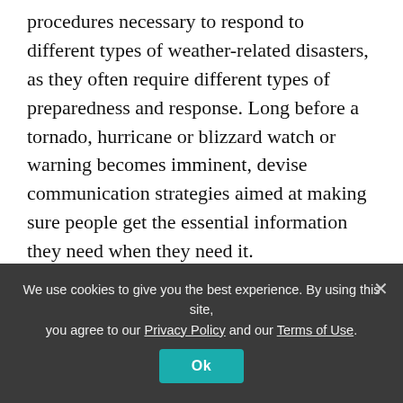procedures necessary to respond to different types of weather-related disasters, as they often require different types of preparedness and response. Long before a tornado, hurricane or blizzard watch or warning becomes imminent, devise communication strategies aimed at making sure people get the essential information they need when they need it.
For example, consider snowstorms and blizzards. Heavy snow or ice can result in loss of power or water and an inability to travel to and from work, but such conditions rarely come without warning.
We use cookies to give you the best experience. By using this site, you agree to our Privacy Policy and our Terms of Use.